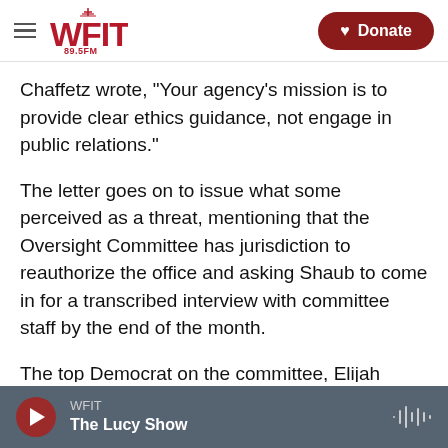WFIT 89.5FM | Donate
Chaffetz wrote, "Your agency's mission is to provide clear ethics guidance, not engage in public relations."
The letter goes on to issue what some perceived as a threat, mentioning that the Oversight Committee has jurisdiction to reauthorize the office and asking Shaub to come in for a transcribed interview with committee staff by the end of the month.
The top Democrat on the committee, Elijah Cummings of Maryland, says rather than a closed-door session, he wants Shaub to testify in a public
WFIT | The Lucy Show